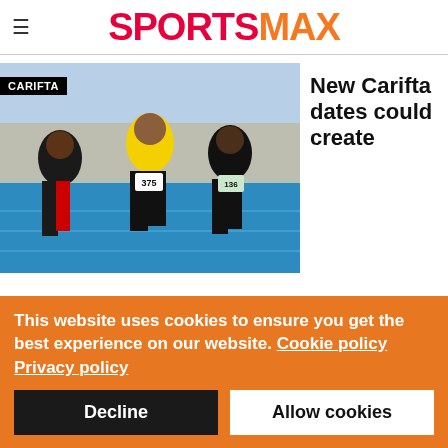SPORTSMAX
[Figure (photo): Female sprinters racing on a blue track at a CARIFTA Games event. The central runner wears a yellow and green Jamaica jersey with bib number 375, another runner in black with bib 136 is on the right. A CARIFTA badge is overlaid on the top-left of the image.]
New Carifta dates could create
This website uses cookies to ensure you get the best experience on our website. Cookie policy
Privacy policy
Decline
Allow cookies